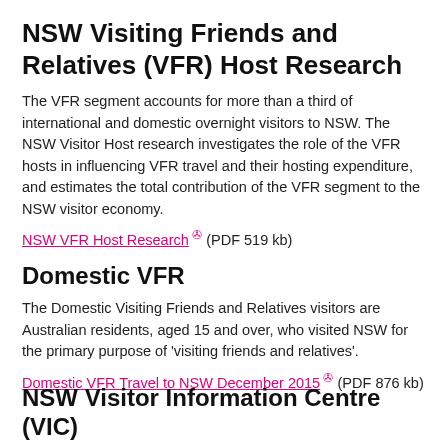NSW Visiting Friends and Relatives (VFR) Host Research
The VFR segment accounts for more than a third of international and domestic overnight visitors to NSW. The NSW Visitor Host research investigates the role of the VFR hosts in influencing VFR travel and their hosting expenditure, and estimates the total contribution of the VFR segment to the NSW visitor economy.
NSW VFR Host Research (PDF 519 kb)
Domestic VFR
The Domestic Visiting Friends and Relatives visitors are Australian residents, aged 15 and over, who visited NSW for the primary purpose of 'visiting friends and relatives'.
Domestic VFR Travel to NSW December 2015 (PDF 876 kb)
NSW Visitor Information Centre (VIC)